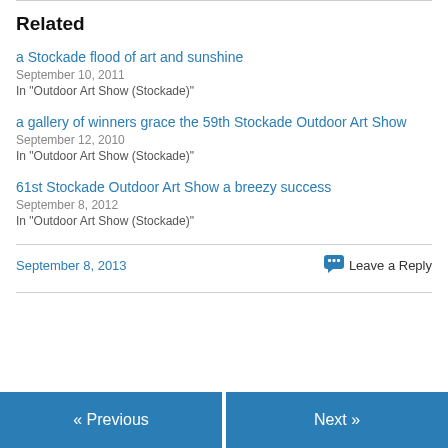Related
a Stockade flood of art and sunshine
September 10, 2011
In "Outdoor Art Show (Stockade)"
a gallery of winners grace the 59th Stockade Outdoor Art Show
September 12, 2010
In "Outdoor Art Show (Stockade)"
61st Stockade Outdoor Art Show a breezy success
September 8, 2012
In "Outdoor Art Show (Stockade)"
September 8, 2013
Leave a Reply
« Previous | Next »